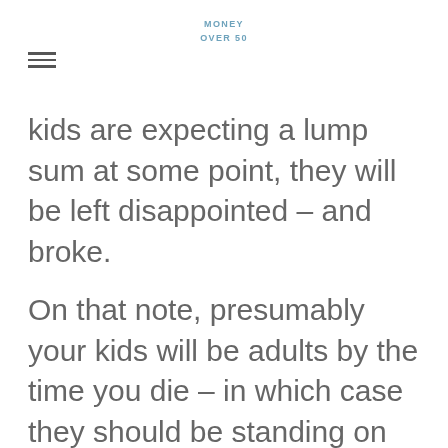MONEY
OVER 50
kids are expecting a lump sum at some point, they will be left disappointed – and broke.
On that note, presumably your kids will be adults by the time you die – in which case they should be standing on their own two feet and not expecting money from you anyway. If they are expecting a